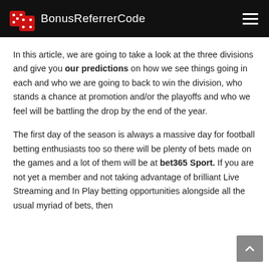BonusReferrerCode
In this article, we are going to take a look at the three divisions and give you our predictions on how we see things going in each and who we are going to back to win the division, who stands a chance at promotion and/or the playoffs and who we feel will be battling the drop by the end of the year.
The first day of the season is always a massive day for football betting enthusiasts too so there will be plenty of bets made on the games and a lot of them will be at bet365 Sport. If you are not yet a member and not taking advantage of brilliant Live Streaming and In Play betting opportunities alongside all the usual myriad of bets, then